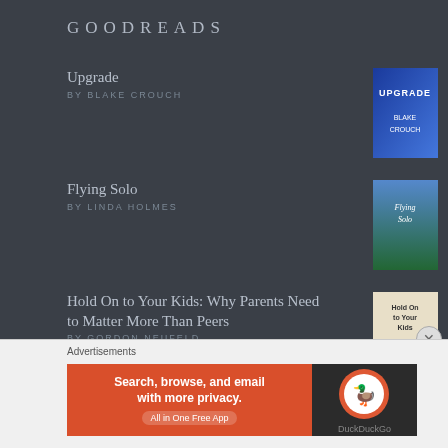GOODREADS
Upgrade
BY BLAKE CROUCH
[Figure (photo): Book cover: Upgrade by Blake Crouch, blue gradient cover]
Flying Solo
BY LINDA HOLMES
[Figure (photo): Book cover: Flying Solo by Linda Holmes, colorful illustrated cover]
Hold On to Your Kids: Why Parents Need to Matter More Than Peers
BY GORDON NEUFELD
[Figure (photo): Book cover: Hold On to Your Kids, light beige cover with parent and child]
The Stand
BY STEPHEN KING
[Figure (photo): Book cover: The Stand by Stephen King, dark cover]
Advertisements
[Figure (other): DuckDuckGo advertisement banner: Search, browse, and email with more privacy. All in One Free App]